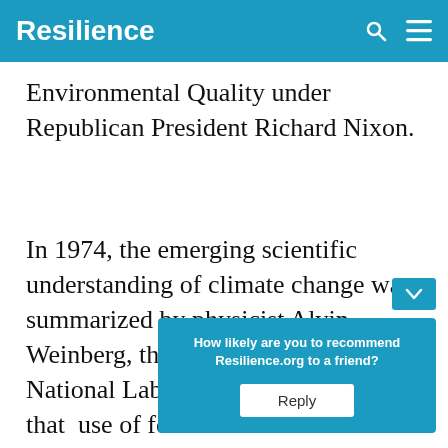Resilience
Environmental Quality under Republican President Richard Nixon.
In 1974, the emerging scientific understanding of climate change was summarized by physicist Alvin Weinberg, the head of the Oak Ridge National Laboratory, who explained that the use of fossil f[uels would eventual]l before[...] at th[e ...]
[Figure (infographic): Popup overlay with teal background asking 'How likely are you to recommend Resilience.org to a friend?' with a white 'Reply' button]